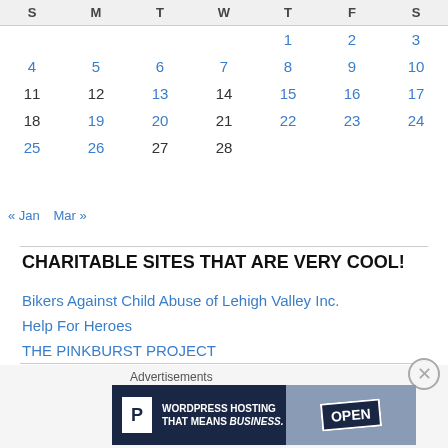| S | M | T | W | T | F | S |
| --- | --- | --- | --- | --- | --- | --- |
|  |  |  |  | 1 | 2 | 3 |
| 4 | 5 | 6 | 7 | 8 | 9 | 10 |
| 11 | 12 | 13 | 14 | 15 | 16 | 17 |
| 18 | 19 | 20 | 21 | 22 | 23 | 24 |
| 25 | 26 | 27 | 28 |  |  |  |
« Jan   Mar »
CHARITABLE SITES THAT ARE VERY COOL!
Bikers Against Child Abuse of Lehigh Valley Inc.
Help For Heroes
THE PINKBURST PROJECT
Advertisements
[Figure (other): WordPress Hosting That Means Business advertisement banner with P icon and OPEN sign photo]